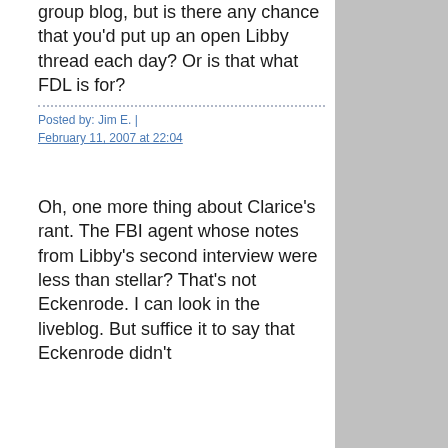group blog, but is there any chance that you'd put up an open Libby thread each day? Or is that what FDL is for?
Posted by: Jim E. | February 11, 2007 at 22:04
Oh, one more thing about Clarice's rant. The FBI agent whose notes from Libby's second interview were less than stellar? That's not Eckenrode. I can look in the liveblog. But suffice it to say that Eckenrode didn't